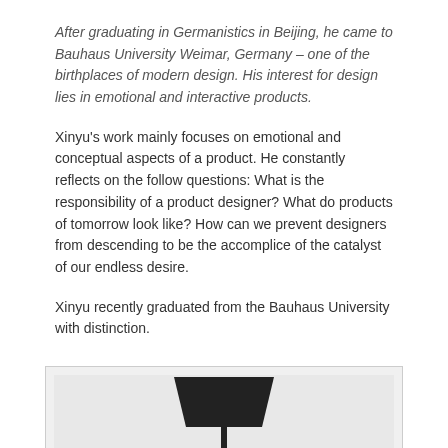After graduating in Germanistics in Beijing, he came to Bauhaus University Weimar, Germany – one of the birthplaces of modern design. His interest for design lies in emotional and interactive products.
Xinyu's work mainly focuses on emotional and conceptual aspects of a product. He constantly reflects on the follow questions: What is the responsibility of a product designer? What do products of tomorrow look like? How can we prevent designers from descending to be the accomplice of the catalyst of our endless desire.
Xinyu recently graduated from the Bauhaus University with distinction.
[Figure (photo): Photograph of a minimalist floor lamp with a dark rectangular shade on a thin vertical pole, displayed against a light grey background.]